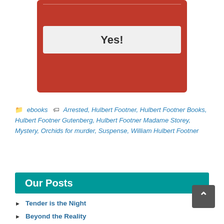[Figure (screenshot): Red signup/subscription box with a 'Yes!' button in light gray]
ebooks  Arrested, Hulbert Footner, Hulbert Footner Books, Hulbert Footner Gutenberg, Hulbert Footner Madame Storey, Mystery, Orchids for murder, Suspense, William Hulbert Footner
Our Posts
Tender is the Night
Beyond the Reality
Do you like ART or DIY?
SIRIUS The Human Dog